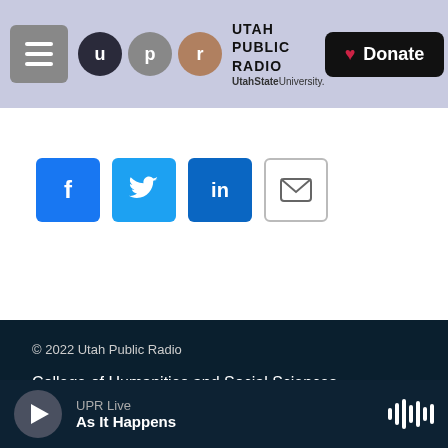Utah Public Radio — UtahState University
[Figure (screenshot): Social share buttons: Facebook, Twitter, LinkedIn, Email]
© 2022 Utah Public Radio
College of Humanities and Social Sciences
FCC-hosted Online Public File
UPR Live — As It Happens